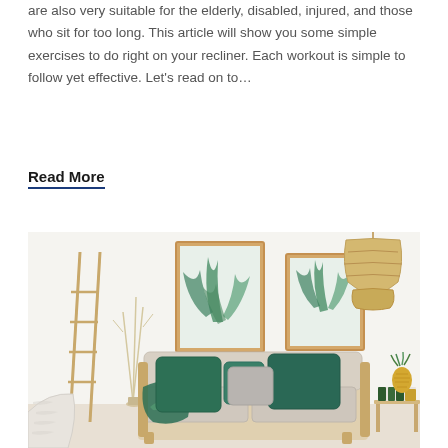are also very suitable for the elderly, disabled, injured, and those who sit for too long. This article will show you some simple exercises to do right on your recliner. Each workout is simple to follow yet effective. Let's read on to…
Read More
[Figure (photo): A bright, Scandinavian-style living room with a wooden-framed sofa covered in teal and grey cushions with a tropical green throw blanket. Two framed botanical prints hang on the white wall. A wooden decorative ladder leans against the left wall. A wicker pendant lamp hangs in the upper right. A small side table with stacked books and a pineapple plant is on the right. A white knitted armchair is partially visible on the lower left.]